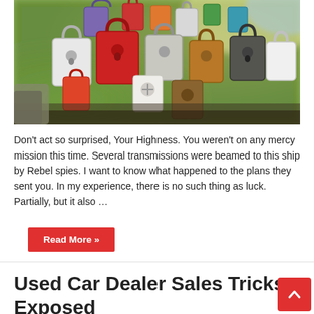[Figure (photo): Close-up photo of many colorful padlocks clustered together on a surface, with blurred bokeh background.]
Don't act so surprised, Your Highness. You weren't on any mercy mission this time. Several transmissions were beamed to this ship by Rebel spies. I want to know what happened to the plans they sent you. In my experience, there is no such thing as luck. Partially, but it also …
Read More »
Used Car Dealer Sales Tricks Exposed
24. Januar 2015   Allgemein, Business, Photography, Sports, World   0
[Figure (photo): Partial view of a building exterior with classical architecture, sepia-toned or faded color.]